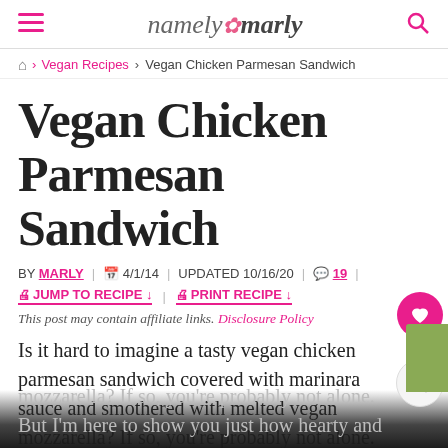namely marly
Home › Vegan Recipes › Vegan Chicken Parmesan Sandwich
Vegan Chicken Parmesan Sandwich
BY MARLY | 4/1/14 | UPDATED 10/16/20 | 19 |
JUMP TO RECIPE ↓ | PRINT RECIPE ↓
This post may contain affiliate links. Disclosure Policy
Is it hard to imagine a tasty vegan chicken parmesan sandwich covered with marinara sauce and smothered with melted vegan mozzarella? If so, you're probably not alone. But I'm here to show you just how hearty and